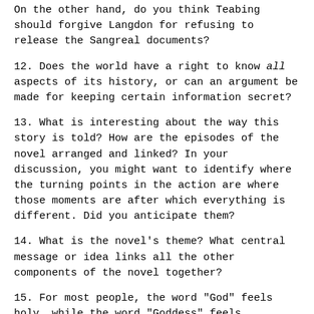On the other hand, do you think Teabing should forgive Langdon for refusing to release the Sangreal documents?
12. Does the world have a right to know all aspects of its history, or can an argument be made for keeping certain information secret?
13. What is interesting about the way this story is told? How are the episodes of the novel arranged and linked? In your discussion, you might want to identify where the turning points in the action are where those moments are after which everything is different. Did you anticipate them?
14. What is the novel's theme? What central message or idea links all the other components of the novel together?
15. For most people, the word "God" feels holy, while the word "Goddess" feels